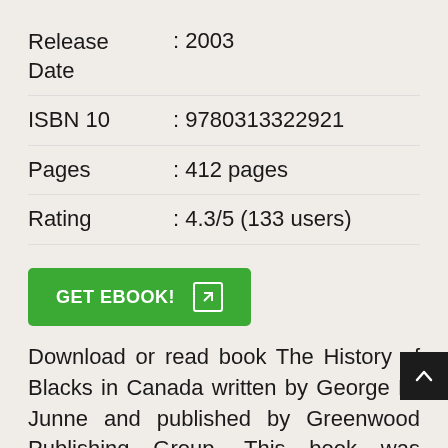Release Date : 2003
ISBN 10 : 9780313322921
Pages : 412 pages
Rating : 4.3/5 (133 users)
GET EBOOK!
Download or read book The History of Blacks in Canada written by George H. Junne and published by Greenwood Publishing Group. This book was released on 2003 with total page 412 pages. Available in PDF, EPUB and Kindle. Book